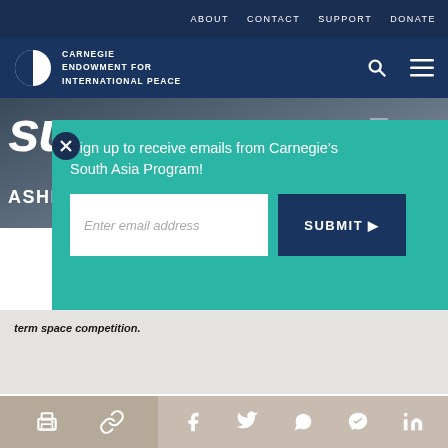ABOUT   CONTACT   SUPPORT   DONATE
[Figure (logo): Carnegie Endowment for International Peace logo with circular half-filled icon and white text on dark navy background, with search and menu icons on right]
Success
ASHLEY J. TELLIS
[Figure (screenshot): Email signup modal overlay on teal background: 'Sign up to receive emails from Carnegie's South Asia Program!' with email input field and SUBMIT button]
term space competition.
[Figure (infographic): Share bar with print, link, Facebook, Twitter, WhatsApp, Messenger, and LinkedIn icons]